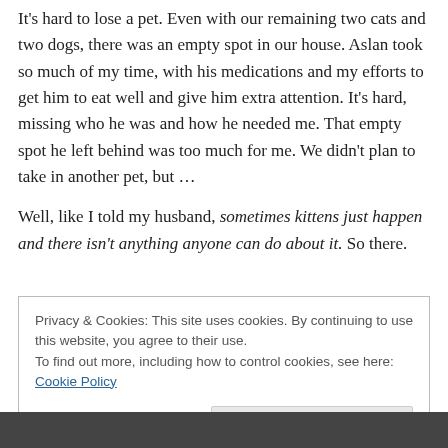It's hard to lose a pet.  Even with our remaining two cats and two dogs, there was an empty spot in our house.  Aslan took so much of my time, with his medications and my efforts to get him to eat well and give him extra attention.  It's hard, missing who he was and how he needed me.  That empty spot he left behind was too much for me.  We didn't plan to take in another pet, but …
Well, like I told my husband, sometimes kittens just happen and there isn't anything anyone can do about it. So there.
Privacy & Cookies: This site uses cookies. By continuing to use this website, you agree to their use. To find out more, including how to control cookies, see here: Cookie Policy
Close and accept
[Figure (photo): Partial bottom strip of a photo, dark, showing what appears to be an animal (cat or similar)]